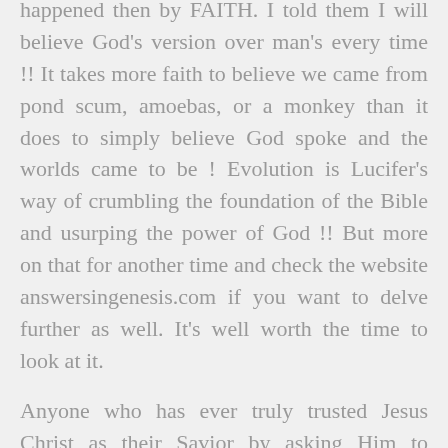happened then by FAITH.  I told them I will believe God's version over man's every time !! It takes more faith to believe we came from pond scum, amoebas, or a monkey than it does to simply believe God spoke and the worlds came to be ! Evolution is Lucifer's way of crumbling the foundation of the Bible and usurping the power of God !!  But more on that for another time and check the website answersingenesis.com  if you want to delve further as well. It's well worth the time to look at it.
Anyone who has ever truly trusted Jesus Christ as their Savior by asking Him to forgive them for being a sinner and asking Him to be their Savior, has experienced the power of God...